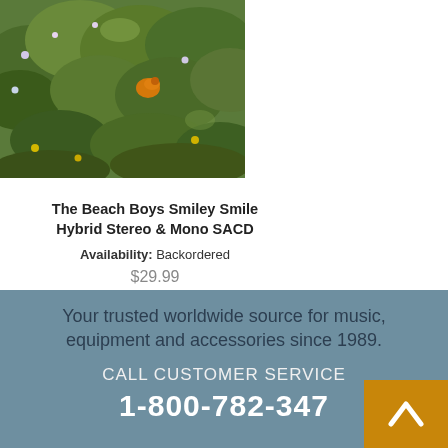[Figure (photo): Product image showing The Beach Boys Smiley Smile album cover — a natural outdoor scene with green foliage/plants and a visible orange element]
The Beach Boys Smiley Smile Hybrid Stereo & Mono SACD
Availability: Backordered
$29.99
Your trusted worldwide source for music, equipment and accessories since 1989.
CALL CUSTOMER SERVICE
1-800-782-34…